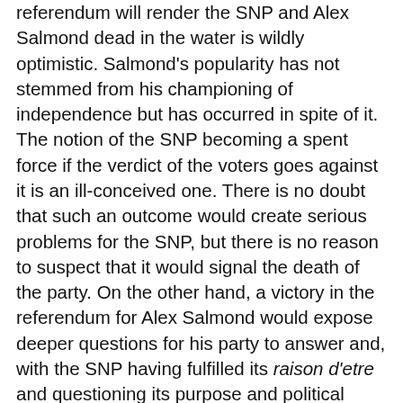referendum will render the SNP and Alex Salmond dead in the water is wildly optimistic. Salmond's popularity has not stemmed from his championing of independence but has occurred in spite of it. The notion of the SNP becoming a spent force if the verdict of the voters goes against it is an ill-conceived one. There is no doubt that such an outcome would create serious problems for the SNP, but there is no reason to suspect that it would signal the death of the party. On the other hand, a victory in the referendum for Alex Salmond would expose deeper questions for his party to answer and, with the SNP having fulfilled its raison d'etre and questioning its purpose and political future, there would surely be opportunities for the Scottish Liberal Democrats in an independent Scotland.
Thirdly, in allying ourselves with the Tories and Labour we have ensured that our voice, comparatively small